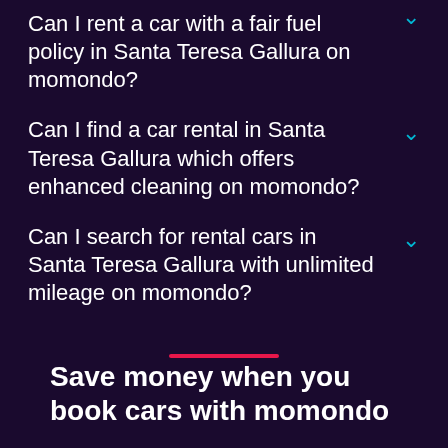Can I rent a car with a fair fuel policy in Santa Teresa Gallura on momondo?
Can I find a car rental in Santa Teresa Gallura which offers enhanced cleaning on momondo?
Can I search for rental cars in Santa Teresa Gallura with unlimited mileage on momondo?
[Figure (other): Pink/red horizontal divider line]
Save money when you book cars with momondo